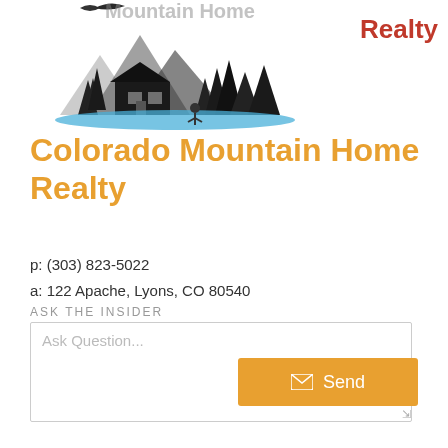[Figure (logo): Colorado Mountain Home Realty logo — black sketch of mountain cabin and trees with blue water/lake, 'Realty' in red text top right]
Colorado Mountain Home Realty
p: (303) 823-5022
a: 122 Apache, Lyons, CO 80540
ASK THE INSIDER
Ask Question...
Send